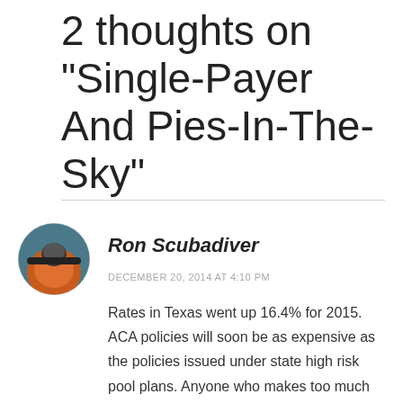2 thoughts on “Single-Payer And Pies-In-The-Sky”
[Figure (photo): Circular avatar photo of Ron Scubadiver, showing a person on a motorcycle with orange and blue tones]
Ron Scubadiver
DECEMBER 20, 2014 AT 4:10 PM
Rates in Texas went up 16.4% for 2015. ACA policies will soon be as expensive as the policies issued under state high risk pool plans. Anyone who makes too much to get a subsidy is out of luck. If they are healthy and had an unrated policy before, they are hosed. The ACA will be a disaster as costs spiral and congress remains